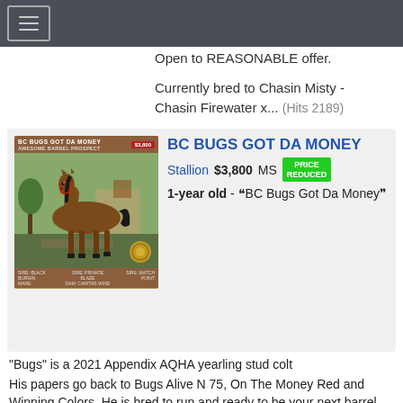Open to REASONABLE offer.
Currently bred to Chasin Misty - Chasin Firewater x... (Hits 2189)
[Figure (photo): Photo of BC Bugs Got Da Money horse listing card showing a brown/bay stallion standing on grass, with header text 'BC BUGS GOT DA MONEY AWESOME BARREL PROSPECT' and price tag '$3,800']
BC BUGS GOT DA MONEY
Stallion $3,800 MS PRICE REDUCED
1-year old - “BC Bugs Got Da Money”
“Bugs” is a 2021 Appendix AQHA yearling stud colt
His papers go back to Bugs Alive N 75, On The Money Red and Winning Colors. He is bred to run and ready to be your next barrel prospect. Bugs has a su... (Hits 816)